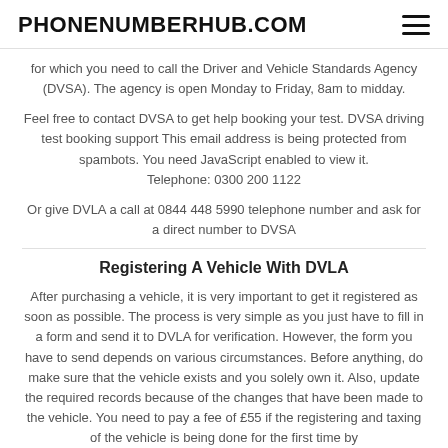PHONENUMBERHUB.COM
for which you need to call the Driver and Vehicle Standards Agency (DVSA). The agency is open Monday to Friday, 8am to midday.
Feel free to contact DVSA to get help booking your test. DVSA driving test booking support This email address is being protected from spambots. You need JavaScript enabled to view it.
Telephone: 0300 200 1122
Or give DVLA a call at 0844 448 5990 telephone number and ask for a direct number to DVSA
Registering A Vehicle With DVLA
After purchasing a vehicle, it is very important to get it registered as soon as possible. The process is very simple as you just have to fill in a form and send it to DVLA for verification. However, the form you have to send depends on various circumstances. Before anything, do make sure that the vehicle exists and you solely own it. Also, update the required records because of the changes that have been made to the vehicle. You need to pay a fee of £55 if the registering and taxing of the vehicle is being done for the first time by